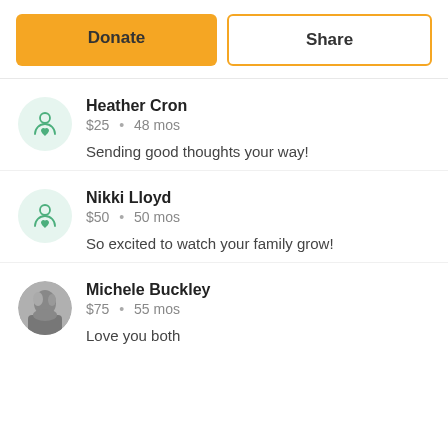[Figure (other): Two buttons: orange Donate button and white Share button with orange border]
Heather Cron · $25 · 48 mos · Sending good thoughts your way!
Nikki Lloyd · $50 · 50 mos · So excited to watch your family grow!
Michele Buckley · $75 · 55 mos · Love you both